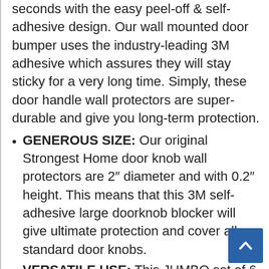seconds with the easy peel-off & self-adhesive design. Our wall mounted door bumper uses the industry-leading 3M adhesive which assures they will stay sticky for a very long time. Simply, these door handle wall protectors are super-durable and give you long-term protection.
GENEROUS SIZE: Our original Strongest Home door knob wall protectors are 2″ diameter and with 0.2″ height. This means that this 3M self-adhesive large doorknob blocker will give ultimate protection and cover all standard door knobs.
VERSATILE USE: This JUMBO set of 6 door slam stoppers are great for fridge or cabinet door, table corners, headboard, toilet seat. Use the door guards to protect the damage caused by the doorknob, door handle slamming. Or use the clear door stopper as